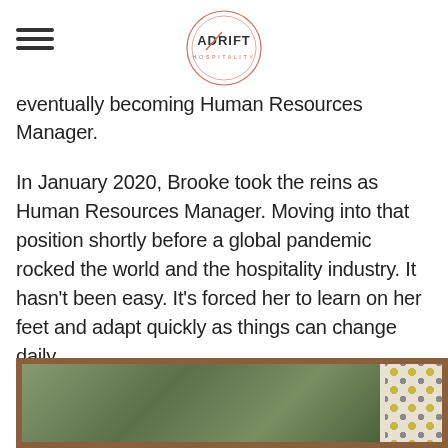Adrift Hospitality
eventually becoming Human Resources Manager.
In January 2020, Brooke took the reins as Human Resources Manager. Moving into that position shortly before a global pandemic rocked the world and the hospitality industry. It hasn't been easy. It's forced her to learn on her feet and adapt quickly as things can change daily.
[Figure (photo): Photo of a wooden-framed window or structure with green foliage visible outside, and a patterned fabric or curtain on the right side.]